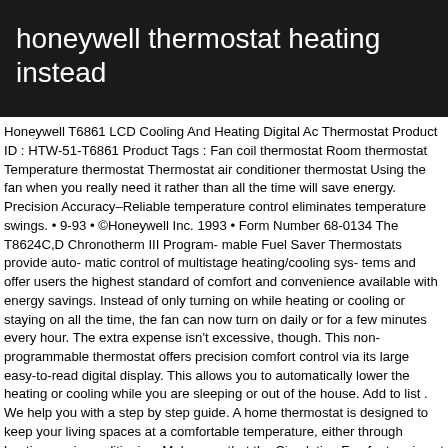honeywell thermostat heating instead
Honeywell T6861 LCD Cooling And Heating Digital Ac Thermostat Product ID : HTW-51-T6861 Product Tags : Fan coil thermostat Room thermostat Temperature thermostat Thermostat air conditioner thermostat Using the fan when you really need it rather than all the time will save energy. Precision Accuracy–Reliable temperature control eliminates temperature swings. • 9-93 • ©Honeywell Inc. 1993 • Form Number 68-0134 The T8624C,D Chronotherm III Program- mable Fuel Saver Thermostats provide auto- matic control of multistage heating/cooling sys- tems and offer users the highest standard of comfort and convenience available with energy savings. Instead of only turning on while heating or cooling or staying on all the time, the fan can now turn on daily or for a few minutes every hour. The extra expense isn't excessive, though. This non-programmable thermostat offers precision comfort control via its large easy-to-read digital display. This allows you to automatically lower the heating or cooling while you are sleeping or out of the house. Add to list . We help you with a step by step guide. A home thermostat is designed to keep your living spaces at a comfortable temperature, either through heating or air conditioning. Make sure that the Circulating Fan feature is not active. Also for: Tradeline